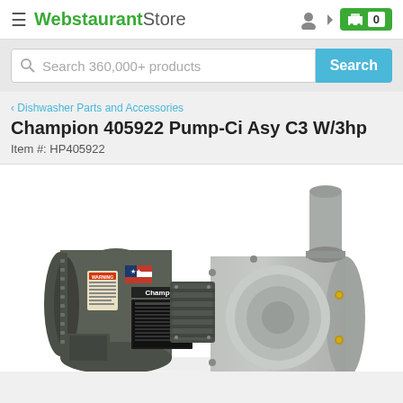WebstaurantStore
Search 360,000+ products
< Dishwasher Parts and Accessories
Champion 405922 Pump-Ci Asy C3 W/3hp
Item #: HP405922
[Figure (photo): Champion 405922 Pump-Ci Asy C3 W/3hp — industrial centrifugal pump with dark green/grey electric motor on left and stainless steel pump housing on right, with outlet pipe at top right. Champion brand label visible on pump body.]